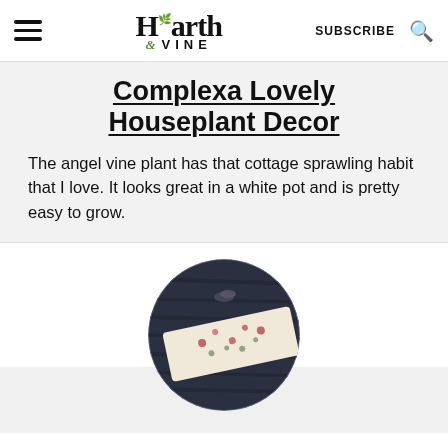Hearth & VINE — SUBSCRIBE
Complexa Lovely Houseplant Decor
The angel vine plant has that cottage sprawling habit that I love. It looks great in a white pot and is pretty easy to grow.
[Figure (photo): Circular cropped photo of a floral fabric piece with scissors, placed on a dark wooden surface]